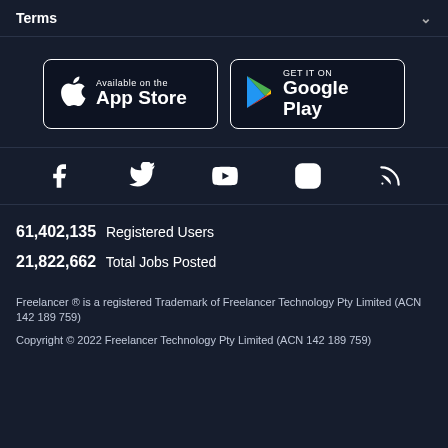Terms
[Figure (screenshot): App Store and Google Play store badge buttons]
[Figure (infographic): Social media icons: Facebook, Twitter, YouTube, Instagram, RSS]
61,402,135  Registered Users
21,822,662  Total Jobs Posted
Freelancer ® is a registered Trademark of Freelancer Technology Pty Limited (ACN 142 189 759)
Copyright © 2022 Freelancer Technology Pty Limited (ACN 142 189 759)